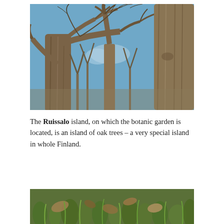[Figure (photo): Upward view of large bare oak trees against a blue sky, showing thick trunks and bare branching canopy in winter/early spring.]
The Ruissalo island, on which the botanic garden is located, is an island of oak trees – a very special island in whole Finland.
[Figure (photo): Close-up ground-level photo showing green grass shoots and dead leaves on the ground.]